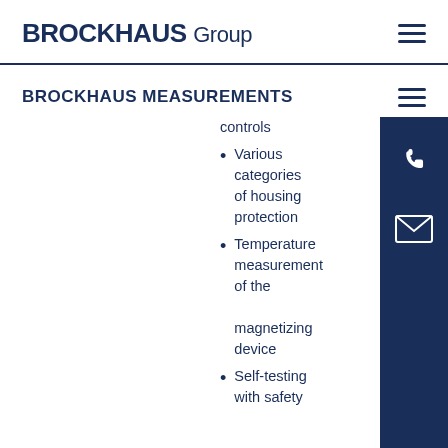BROCKHAUS Group
BROCKHAUS MEASUREMENTS
controls
Various categories of housing protection
Temperature measurement of the magnetizing device
Self-testing with safety